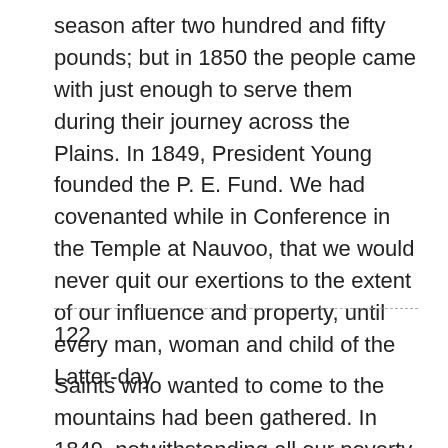season after two hundred and fifty pounds; but in 1850 the people came with just enough to serve them during their journey across the Plains. In 1849, President Young founded the P. E. Fund. We had covenanted while in Conference in the Temple at Nauvoo, that we would never quit our exertions to the extent of our influence and property, until every man, woman and child of the Latter-day
122
Saints who wanted to come to the mountains had been gathered. In 1849, notwithstanding all our poverty, a large sum in gold was contributed by the brethren for emigration purposes, and Bishop